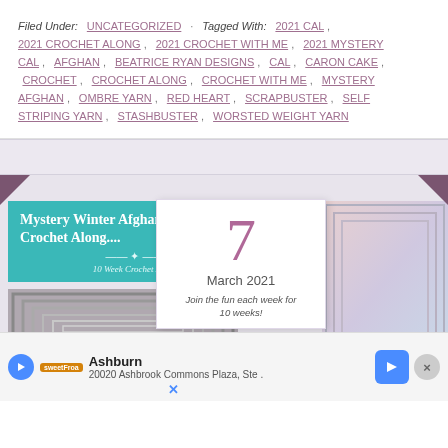Filed Under: UNCATEGORIZED · Tagged With: 2021 CAL , 2021 CROCHET ALONG , 2021 CROCHET WITH ME , 2021 MYSTERY CAL , AFGHAN , BEATRICE RYAN DESIGNS , CAL , CARON CAKE , CROCHET , CROCHET ALONG , CROCHET WITH ME , MYSTERY AFGHAN , OMBRE YARN , RED HEART , SCRAPBUSTER , SELF STRIPING YARN , STASHBUSTER , WORSTED WEIGHT YARN
[Figure (screenshot): Blog post image showing Mystery Winter Afghan Crochet Along collage with teal banner, colorful yarn photo, calendar showing 7 March 2021, and a grey afghan photo. Below is an ad banner for Ashburn 20020 Ashbrook Commons Plaza.]